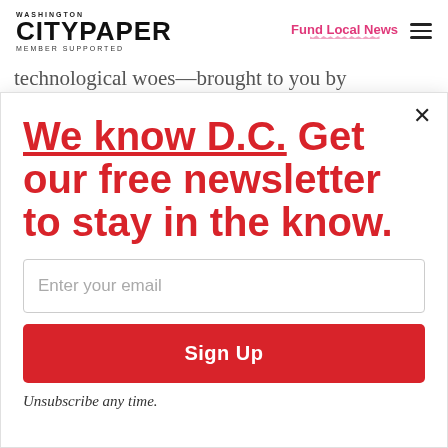Washington City Paper Member Supported | Fund Local News
technological woes—brought to you by
We know D.C. Get our free newsletter to stay in the know.
Enter your email
Sign Up
Unsubscribe any time.